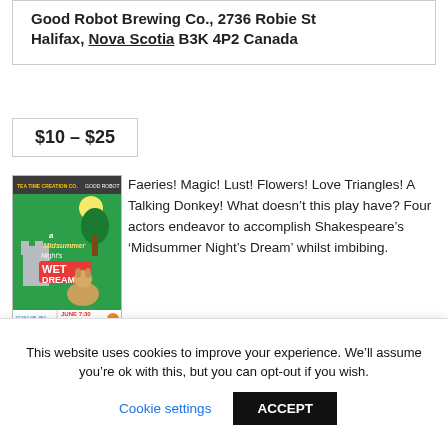Good Robot Brewing Co., 2736 Robie St Halifax, Nova Scotia B3K 4P2 Canada
$10 – $25
[Figure (illustration): Poster for 'A Midsummer Night's WET DREAM' showing cartoon characters in a forest, published by Tea Time Creation Co. and Good Robot. June 14-17, 7:30. Tickets $10/$15/$20/$25.]
Faeries! Magic! Lust! Flowers! Love Triangles! A Talking Donkey! What doesn't this play have? Four actors endeavor to accomplish Shakespeare's ‘Midsummer Night’s Dream’ whilst imbibing. Coined a ‘WET’ dream as you’ll be able to wet your whistle as we wet your
This website uses cookies to improve your experience. We’ll assume you’re ok with this, but you can opt-out if you wish.
Cookie settings
ACCEPT